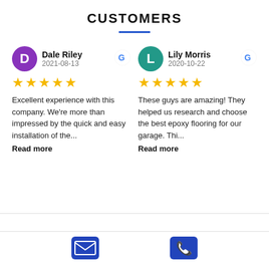CUSTOMERS
Dale Riley
2021-08-13
★★★★★
Excellent experience with this company. We're more than impressed by the quick and easy installation of the...
Read more
Lily Morris
2020-10-22
★★★★★
These guys are amazing! They helped us research and choose the best epoxy flooring for our garage. Thi...
Read more
[Figure (illustration): Email icon (envelope) in blue rounded square]
[Figure (illustration): Phone icon in blue rounded square]